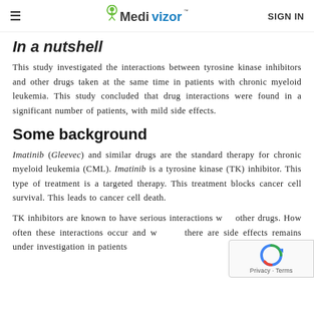≡  Medivizor™  SIGN IN
In a nutshell
This study investigated the interactions between tyrosine kinase inhibitors and other drugs taken at the same time in patients with chronic myeloid leukemia. This study concluded that drug interactions were found in a significant number of patients, with mild side effects.
Some background
Imatinib (Gleevec) and similar drugs are the standard therapy for chronic myeloid leukemia (CML). Imatinib is a tyrosine kinase (TK) inhibitor. This type of treatment is a targeted therapy. This treatment blocks cancer cell survival. This leads to cancer cell death.
TK inhibitors are known to have serious interactions with other drugs. How often these interactions occur and whether there are side effects remains under investigation in patients